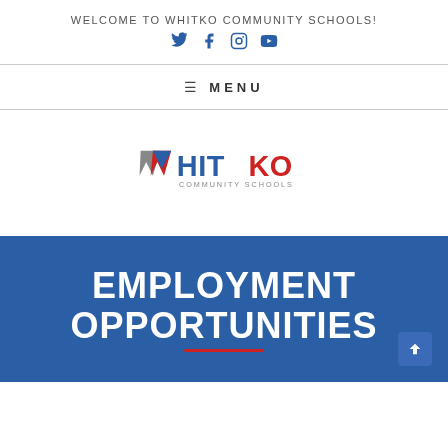WELCOME TO WHITKO COMMUNITY SCHOOLS!
[Figure (other): Social media icons: Twitter, Facebook, Instagram, YouTube in blue]
≡ MENU
[Figure (logo): Whitko Community Schools logo with stylized W in grey, red and blue with text HITKO COMMUNITY SCHOOLS]
EMPLOYMENT OPPORTUNITIES